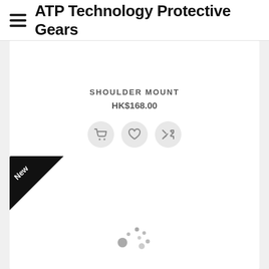ATP Technology Protective Gears
SHOULDER MOUNT
HK$168.00
[Figure (screenshot): Product card with shopping cart, wishlist heart, and shuffle icons]
[Figure (screenshot): Second product card with 'New' triangle badge and loading spinner dots]